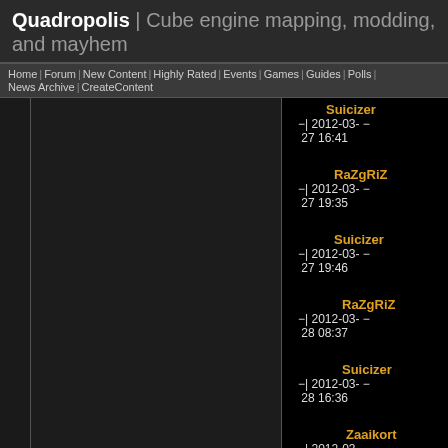Quadropolis | Cube engine mapping, modding, and mayhem
Home | Forum | New Content | Highly Rated | Events | Games | Guides | Polls | News Archive | Create Content
Suicizer −| 2012-03-27 16:41 −
RaZgRiZ −| 2012-03-27 19:35 −
Suicizer −| 2012-03-27 19:46 −
RaZgRiZ −| 2012-03-28 08:37 −
Suicizer −| 2012-03-28 16:36 −
Zaaikort −| 2012-03-